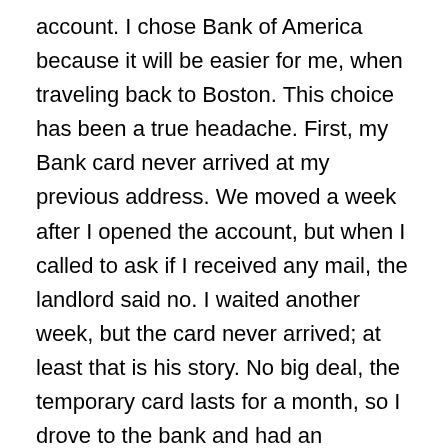account. I chose Bank of America because it will be easier for me, when traveling back to Boston. This choice has been a true headache. First, my Bank card never arrived at my previous address. We moved a week after I opened the account, but when I called to ask if I received any mail, the landlord said no. I waited another week, but the card never arrived; at least that is his story. No big deal, the temporary card lasts for a month, so I drove to the bank and had an associate resend my card to the new address. “7 to 10 business days!” she said. She double checked the date and assured me that the card would arrive before my temporary card expired. Everything was perfect, until President's Day weekend. On Saturday, my temporary card expired, but I never received my Boston Red Sox card. (Did I even have to mention that I chose the Red Sox card?) This was wonderful. No new card and no temporary